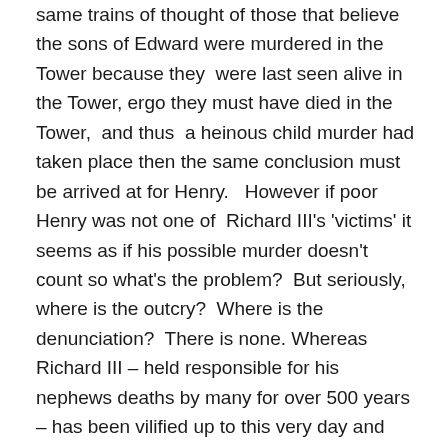same trains of thought of those that believe the sons of Edward were murdered in the Tower because they were last seen alive in the Tower, ergo they must have died in the Tower, and thus a heinous child murder had taken place then the same conclusion must be arrived at for Henry. However if poor Henry was not one of Richard III's 'victims' it seems as if his possible murder doesn't count so what's the problem? But seriously, where is the outcry? Where is the denunciation? There is none. Whereas Richard III – held responsible for his nephews deaths by many for over 500 years – has been vilified up to this very day and particularly by a cohort of modern historians who really should know better. While the 'murders' of his nephews has been surely the absolute worst lump of mud to be chucked at Richard, the possible murder or death brought on by the wilful and